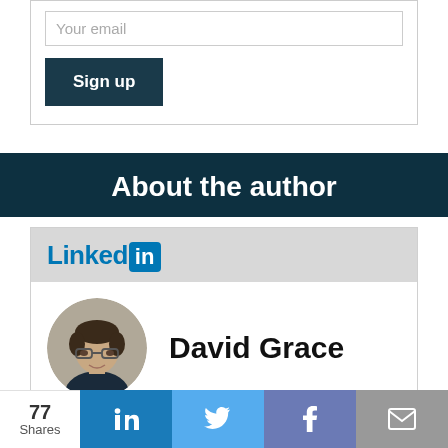Your email
Sign up
About the author
[Figure (logo): LinkedIn logo with blue text 'Linked' and white 'in' on blue rounded rectangle]
[Figure (photo): Circular profile photo of David Grace, a man with glasses and short dark hair]
David Grace
77 Shares
[Figure (other): Social share bar with LinkedIn, Twitter, Facebook, and email icons]